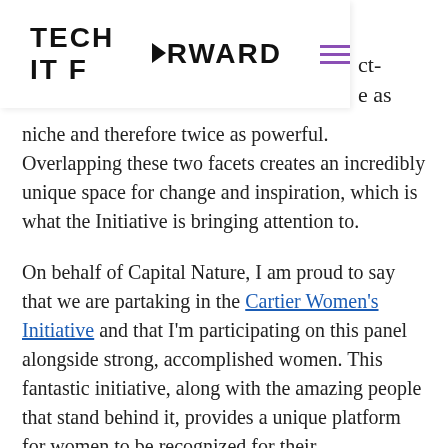TECH IT FORWARD
niche and therefore twice as powerful. Overlapping these two facets creates an incredibly unique space for change and inspiration, which is what the Initiative is bringing attention to.
On behalf of Capital Nature, I am proud to say that we are partaking in the Cartier Women's Initiative and that I'm participating on this panel alongside strong, accomplished women. This fantastic initiative, along with the amazing people that stand behind it, provides a unique platform for women to be recognized for their achievements,